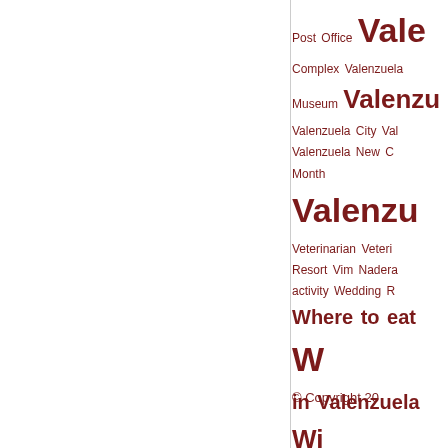Post Office Valenzuela Sports Complex Valenzuela Museum Valenzuela Valenzuela City Valenzuela New City Month Valenzuela Veterinarian Veterinarian Resort Vim Nadera activity Wedding Resort Where to eat Where to eat in Valenzuela Writing X ray for Zenfone 5 zipline Z
© Copyright 20